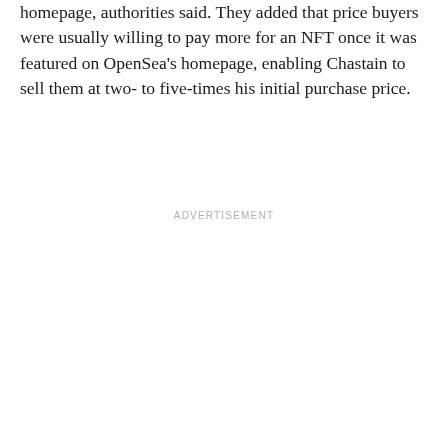homepage, authorities said. They added that price buyers were usually willing to pay more for an NFT once it was featured on OpenSea's homepage, enabling Chastain to sell them at two- to five-times his initial purchase price.
ADVERTISEMENT